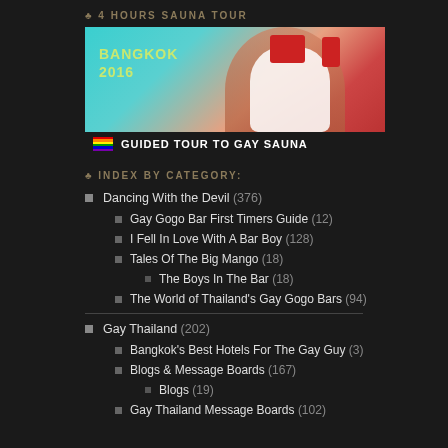♣ 4 HOURS SAUNA TOUR
[Figure (photo): Banner image for guided tour to gay sauna Bangkok 2016, showing a person in a red and white swimsuit with teal background. Footer has rainbow flag and text 'GUIDED TOUR TO GAY SAUNA']
♣ INDEX BY CATEGORY:
Dancing With the Devil (376)
Gay Gogo Bar First Timers Guide (12)
I Fell In Love With A Bar Boy (128)
Tales Of The Big Mango (18)
The Boys In The Bar (18)
The World of Thailand's Gay Gogo Bars (94)
Gay Thailand (202)
Bangkok's Best Hotels For The Gay Guy (3)
Blogs & Message Boards (167)
Blogs (19)
Gay Thailand Message Boards (102)